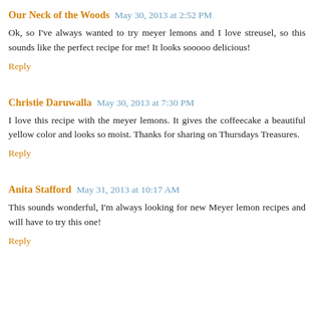Our Neck of the Woods May 30, 2013 at 2:52 PM
Ok, so I've always wanted to try meyer lemons and I love streusel, so this sounds like the perfect recipe for me! It looks sooooo delicious!
Reply
Christie Daruwalla May 30, 2013 at 7:30 PM
I love this recipe with the meyer lemons. It gives the coffeecake a beautiful yellow color and looks so moist. Thanks for sharing on Thursdays Treasures.
Reply
Anita Stafford May 31, 2013 at 10:17 AM
This sounds wonderful, I'm always looking for new Meyer lemon recipes and will have to try this one!
Reply